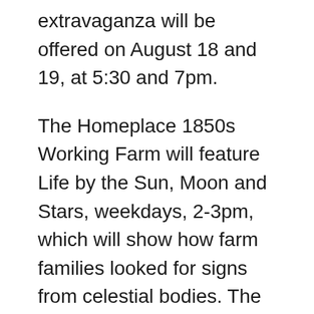extravaganza will be offered on August 18 and 19, at 5:30 and 7pm.
The Homeplace 1850s Working Farm will feature Life by the Sun, Moon and Stars, weekdays, 2-3pm, which will show how farm families looked for signs from celestial bodies. The Storytelling event will be August 19 from 6-7:30pm. Talented presenters will weave tales of the eclipses from the past. This special event is not included in the regular admission price. Cost is $5 for adults and $3 for children. Doors will open at